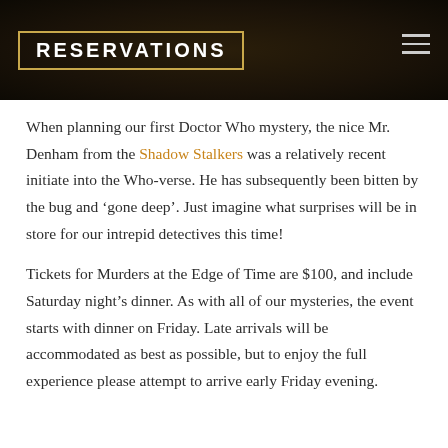RESERVATIONS
When planning our first Doctor Who mystery, the nice Mr. Denham from the Shadow Stalkers was a relatively recent initiate into the Who-verse. He has subsequently been bitten by the bug and ‘gone deep’. Just imagine what surprises will be in store for our intrepid detectives this time!
Tickets for Murders at the Edge of Time are $100, and include Saturday night’s dinner. As with all of our mysteries, the event starts with dinner on Friday. Late arrivals will be accommodated as best as possible, but to enjoy the full experience please attempt to arrive early Friday evening.